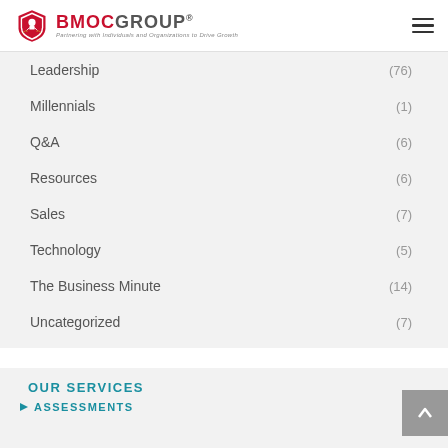BMOC GROUP® – Partnering with Individuals and Organizations to Drive Growth
Leadership (76)
Millennials (1)
Q&A (6)
Resources (6)
Sales (7)
Technology (5)
The Business Minute (14)
Uncategorized (7)
OUR SERVICES
ASSESSMENTS